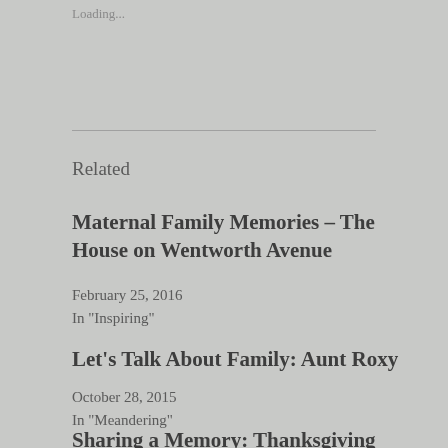Loading...
Related
Maternal Family Memories – The House on Wentworth Avenue
February 25, 2016
In "Inspiring"
Let's Talk About Family: Aunt Roxy
October 28, 2015
In "Meandering"
Sharing a Memory: Thanksgiving 2014